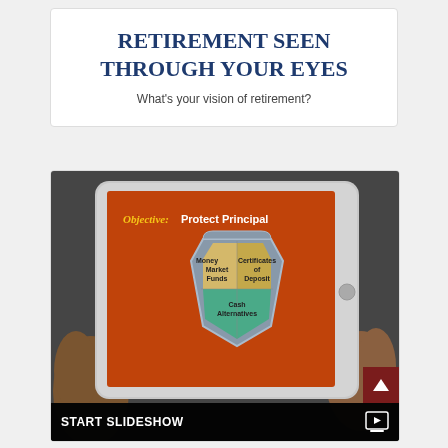RETIREMENT SEEN THROUGH YOUR EYES
What's your vision of retirement?
[Figure (photo): Tablet computer being held by hands showing a presentation slide with 'Objective: Protect Principal' text and a shield diagram containing Money Market Funds, Certificates of Deposit, and Cash Alternatives sections]
START SLIDESHOW